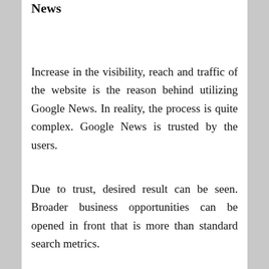Reasons for Utilizing in Google News
Increase in the visibility, reach and traffic of the website is the reason behind utilizing Google News. In reality, the process is quite complex. Google News is trusted by the users.
Due to trust, desired result can be seen. Broader business opportunities can be opened in front that is more than standard search metrics.
Trust plays an important role in the creation of brand awareness. In addition, an impact may be created in behavior of the users. It can be noticed with pre-click and post-click scenario. Most of the business owner